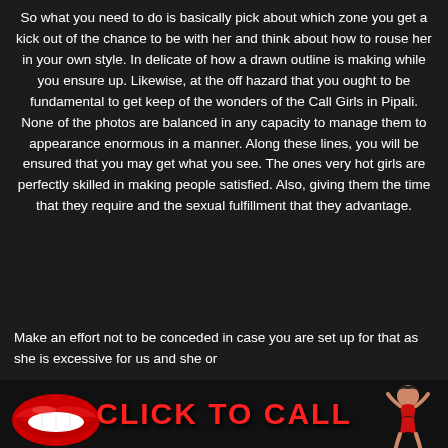So what you need to do is basically pick about which zone you get a kick out of the chance to be with her and think about how to rouse her in your own style. In delicate of how a drawn outline is making while you ensure up. Likewise, at the off hazard that you ought to be fundamental to get keep of the wonders of the Call Girls in Pipali. None of the photos are balanced in any capacity to manage them to appearance enormous in a manner. Along these lines, you will be ensured that you may get what you see. The ones very hot girls are perfectly skilled in making people satisfied. Also, giving them the time that they require and the sexual fulfillment that they advantage.
Make an effort not to be conceded in case you are set up for that as she is excessive for us and she or
[Figure (infographic): Click to Call banner with red lips emoji and pinup girl illustration]